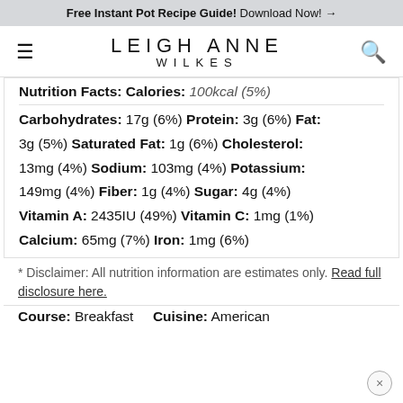Free Instant Pot Recipe Guide! Download Now! →
LEIGH ANNE WILKES
Nutrition Facts: Calories: 100kcal (5%)  Carbohydrates: 17g (6%) Protein: 3g (6%) Fat: 3g (5%) Saturated Fat: 1g (6%) Cholesterol: 13mg (4%) Sodium: 103mg (4%) Potassium: 149mg (4%) Fiber: 1g (4%) Sugar: 4g (4%) Vitamin A: 2435IU (49%) Vitamin C: 1mg (1%) Calcium: 65mg (7%) Iron: 1mg (6%)
* Disclaimer: All nutrition information are estimates only. Read full disclosure here.
Course: Breakfast    Cuisine: American